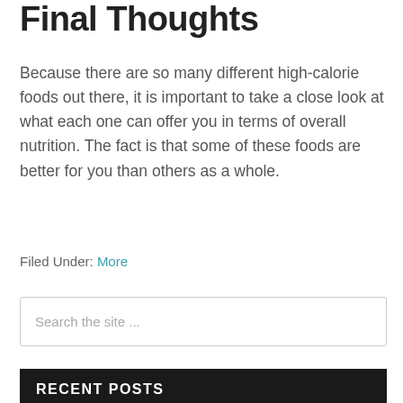Final Thoughts
Because there are so many different high-calorie foods out there, it is important to take a close look at what each one can offer you in terms of overall nutrition. The fact is that some of these foods are better for you than others as a whole.
Filed Under: More
Search the site ...
RECENT POSTS